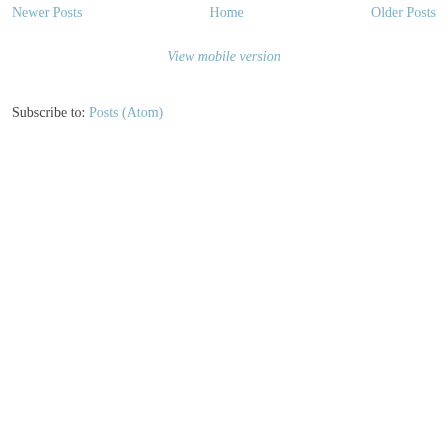Newer Posts   Home   Older Posts
View mobile version
Subscribe to: Posts (Atom)